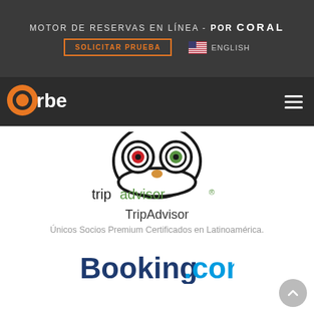MOTOR DE RESERVAS EN LÍNEA - POR CORAL
SOLICITAR PRUEBA | ENGLISH
[Figure (logo): Orbe logo - orange circle with white 'o' and white lowercase 'rbe' text]
[Figure (logo): TripAdvisor owl logo with red and green eyes, tripadvisor text in black and green]
TripAdvisor
Únicos Socios Premium Certificados en Latinoamérica.
[Figure (logo): Booking.com logo in dark blue and light blue]